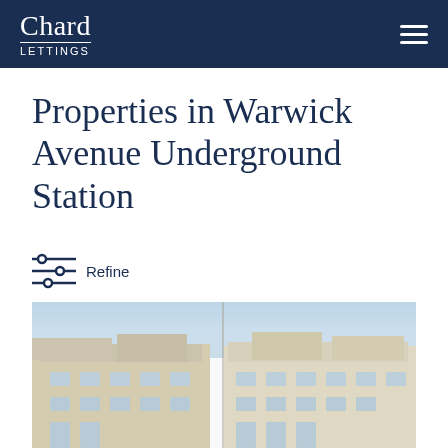Chard Lettings
Properties in Warwick Avenue Underground Station
Refine
[Figure (photo): Blurred exterior photograph of a multi-storey residential building with cream/stone facade, showing rooflines and upper floors]